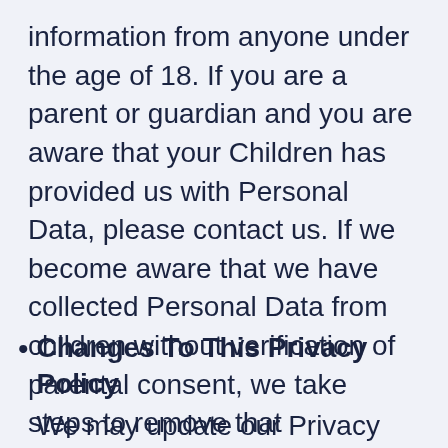information from anyone under the age of 18. If you are a parent or guardian and you are aware that your Children has provided us with Personal Data, please contact us. If we become aware that we have collected Personal Data from children without verification of parental consent, we take steps to remove that information from our servers.
Changes To This Privacy Policy
We may update our Privacy Policy from time to time. We will notify you of any changes by